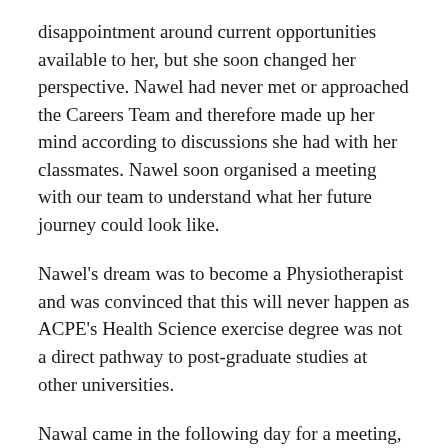disappointment around current opportunities available to her, but she soon changed her perspective. Nawel had never met or approached the Careers Team and therefore made up her mind according to discussions she had with her classmates. Nawel soon organised a meeting with our team to understand what her future journey could look like.
Nawel's dream was to become a Physiotherapist and was convinced that this will never happen as ACPE's Health Science exercise degree was not a direct pathway to post-graduate studies at other universities.
Nawal came in the following day for a meeting, where she was advised appropriately of her options, which were, entry into Masters of Physiotherapy at either University of Sydney or UTS, whilst also being encouraged to look at...